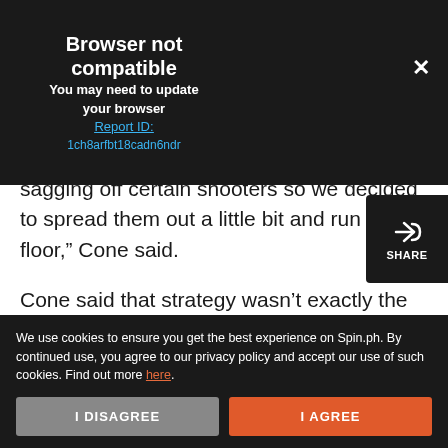Browser not compatible
You may need to update your browser
Report ID:
1ch8arfbt18cadn6ndr
sagging off certain shooters so we decided to spread them out a little bit and run the floor,” Cone said.
Cone said that strategy wasn’t exactly the big reason for the Game Three win, saying TNT was able to adjust quickly to the starting line-up.
We use cookies to ensure you get the best experience on Spin.ph. By continued use, you agree to our privacy policy and accept our use of such cookies. Find out more here.
I DISAGREE
I AGREE